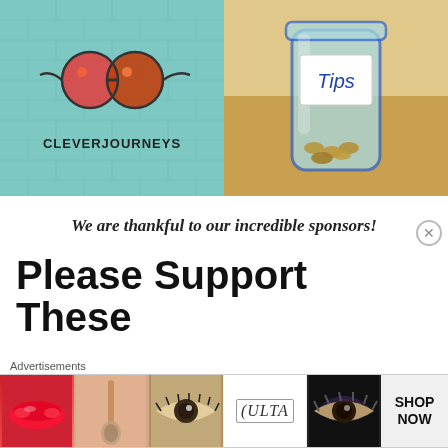[Figure (illustration): Two side-by-side images: left shows CleverJourneys logo on teal brick wall background; right shows a blue glass mason jar labeled 'Tips' containing coins on a wooden surface.]
We are thankful to our incredible sponsors!
Please Support These
[Figure (photo): Advertisement banner for Ulta Beauty featuring makeup imagery — lips, brush, eye close-up, Ulta logo, eye close-up — with 'SHOP NOW' call-to-action button.]